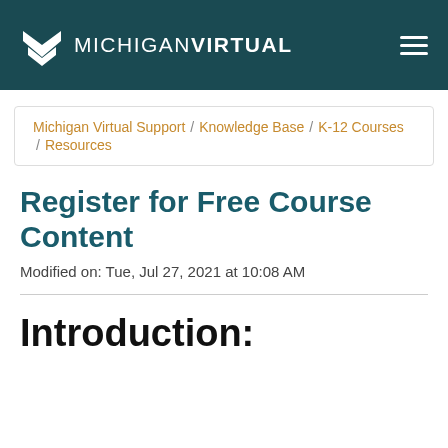MICHIGAN VIRTUAL
Michigan Virtual Support / Knowledge Base / K-12 Courses / Resources
Register for Free Course Content
Modified on: Tue, Jul 27, 2021 at 10:08 AM
Introduction: